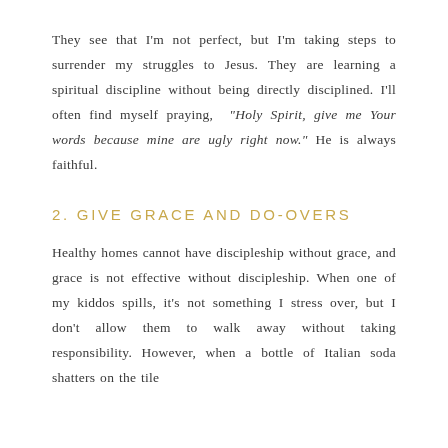They see that I'm not perfect, but I'm taking steps to surrender my struggles to Jesus. They are learning a spiritual discipline without being directly disciplined. I'll often find myself praying, "Holy Spirit, give me Your words because mine are ugly right now." He is always faithful.
2. GIVE GRACE AND DO-OVERS
Healthy homes cannot have discipleship without grace, and grace is not effective without discipleship. When one of my kiddos spills, it's not something I stress over, but I don't allow them to walk away without taking responsibility. However, when a bottle of Italian soda shatters on the tile